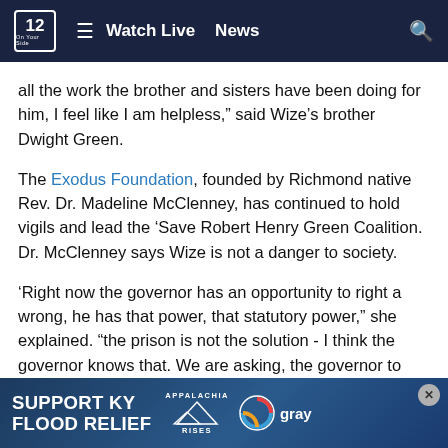12 On Your Side | Watch Live  News
all the work the brother and sisters have been doing for him, I feel like I am helpless," said Wize's brother Dwight Green.
The Exodus Foundation, founded by Richmond native Rev. Dr. Madeline McClenney, has continued to hold vigils and lead the ‘Save Robert Henry Green Coalition. Dr. McClenney says Wize is not a danger to society.
‘Right now the governor has an opportunity to right a wrong, he has that power, that statutory power," she explained. “the prison is not the solution - I think the governor knows that. We are asking, the governor to amend his conditional pardon to make it for immediate release.
[Figure (infographic): Advertisement banner: SUPPORT KY FLOOD RELIEF with Appalachia Rises logo and Gray Television logo]